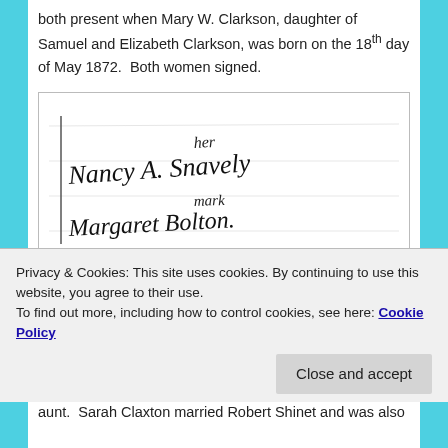both present when Mary W. Clarkson, daughter of Samuel and Elizabeth Clarkson, was born on the 18th day of May 1872.  Both women signed.
[Figure (photo): Handwritten signatures of Nancy A. Snavely (with 'her mark') and Margaret Bolton on a historical document]
Margaret Bolton was Margaret Claxton, the oldest child of Samuel Claxton.   Nancy Claxton, daughter of Fairwick
Privacy & Cookies: This site uses cookies. By continuing to use this website, you agree to their use.
To find out more, including how to control cookies, see here: Cookie Policy
Close and accept
aunt.  Sarah Claxton married Robert Shinet and was also